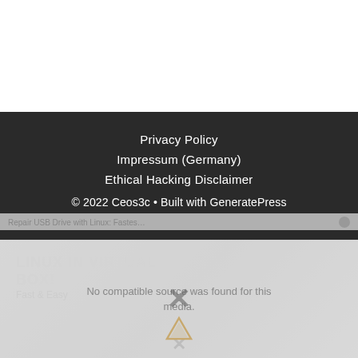Privacy Policy
Impossum (Germany)
Ethical Hacking Disclaimer
© 2022 Ceos3c • Built with GeneratePress
[Figure (screenshot): Video player overlay showing 'No compatible source was found for this media.' message with LINUX IN VIRTUAL BOX background thumbnail, close button X, and a dismiss X button. The overlay is partially transparent over the video thumbnail.]